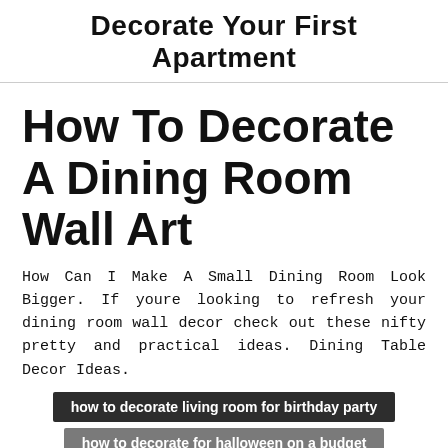Decorate Your First Apartment
How To Decorate A Dining Room Wall Art
How Can I Make A Small Dining Room Look Bigger. If youre looking to refresh your dining room wall decor check out these nifty pretty and practical ideas. Dining Table Decor Ideas.
how to decorate living room for birthday party
how to decorate for halloween on a budget
how to decorate guest powder room
how to decorate living room with fireplace
✕ CLOSE